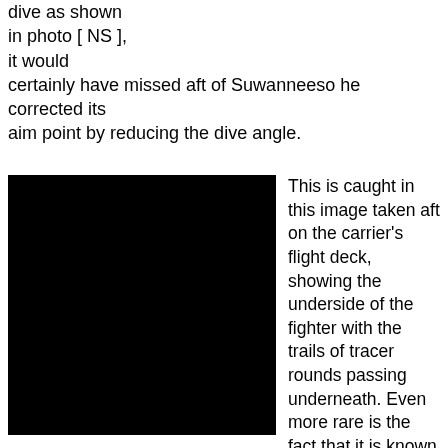dive as shown in photo [ NS ], it would certainly have missed aft of Suwanneeso he corrected its aim point by reducing the dive angle.
[Figure (photo): A black rectangular photograph, nearly entirely black, taken aft on a carrier's flight deck showing the underside of a fighter aircraft with trails of tracer rounds passing underneath.]
This is caught in this image taken aft on the carrier's flight deck, showing the underside of the fighter with the trails of tracer rounds passing underneath. Even more rare is the fact that it is known that this particular aircraft